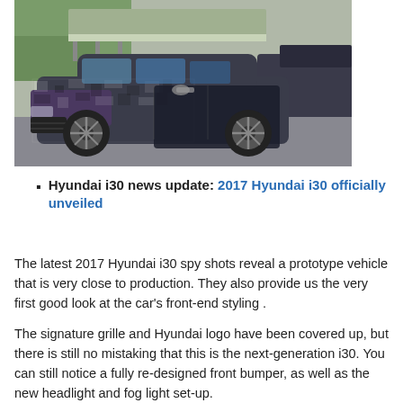[Figure (photo): Spy shot of a camouflaged 2017 Hyundai i30 prototype vehicle on the road, partially covered with black wrapping and camouflage pattern, showing front-end styling.]
Hyundai i30 news update: 2017 Hyundai i30 officially unveiled
The latest 2017 Hyundai i30 spy shots reveal a prototype vehicle that is very close to production. They also provide us the very first good look at the car's front-end styling .
The signature grille and Hyundai logo have been covered up, but there is still no mistaking that this is the next-generation i30. You can still notice a fully re-designed front bumper, as well as the new headlight and fog light set-up.